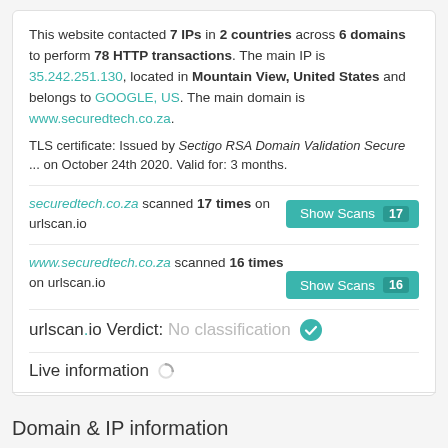This website contacted 7 IPs in 2 countries across 6 domains to perform 78 HTTP transactions. The main IP is 35.242.251.130, located in Mountain View, United States and belongs to GOOGLE, US. The main domain is www.securedtech.co.za. TLS certificate: Issued by Sectigo RSA Domain Validation Secure ... on October 24th 2020. Valid for: 3 months.
securedtech.co.za scanned 17 times on urlscan.io
www.securedtech.co.za scanned 16 times on urlscan.io
urlscan.io Verdict: No classification
Live information
Domain & IP information